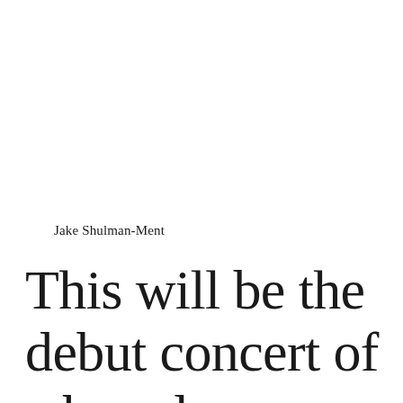Jake Shulman-Ment
This will be the debut concert of a brand-new eclectic